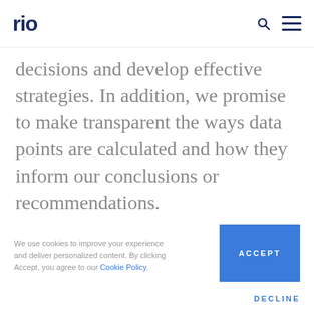rio
decisions and develop effective strategies. In addition, we promise to make transparent the ways data points are calculated and how they inform our conclusions or recommendations.
We use cookies to improve your experience and deliver personalized content. By clicking Accept, you agree to our Cookie Policy.
ACCEPT
DECLINE